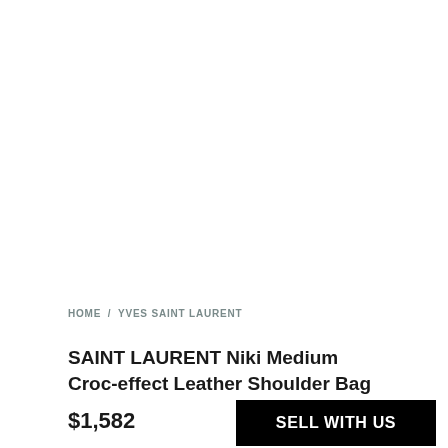HOME / YVES SAINT LAURENT
SAINT LAURENT Niki Medium Croc-effect Leather Shoulder Bag
$1,582
SELL WITH US